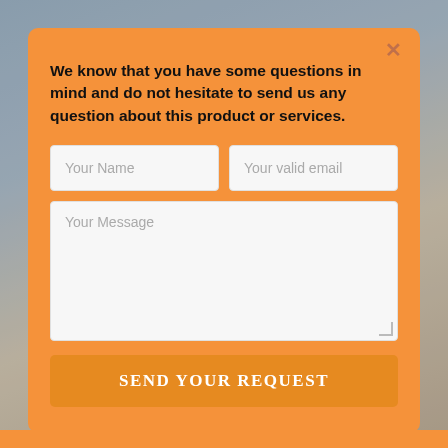[Figure (screenshot): Background photo of people (blurred) behind an orange modal dialog]
We know that you have some questions in mind and do not hesitate to send us any question about this product or services.
Your Name
Your valid email
Your Message
SEND YOUR REQUEST